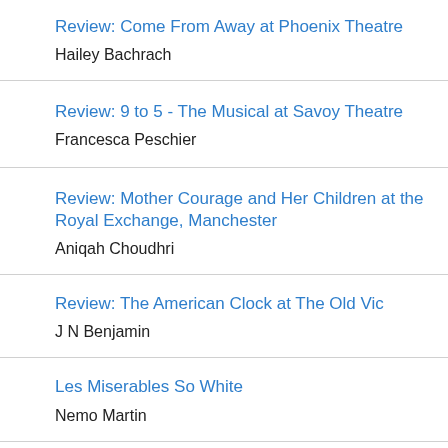Review: Come From Away at Phoenix Theatre
Hailey Bachrach
Review: 9 to 5 - The Musical at Savoy Theatre
Francesca Peschier
Review: Mother Courage and Her Children at the Royal Exchange, Manchester
Aniqah Choudhri
Review: The American Clock at The Old Vic
J N Benjamin
Les Miserables So White
Nemo Martin
Review: Shipwreck at Almeida Theatre
Sally Hales